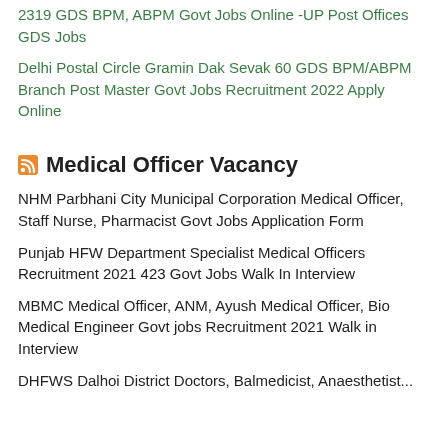2319 GDS BPM, ABPM Govt Jobs Online -UP Post Offices GDS Jobs
Delhi Postal Circle Gramin Dak Sevak 60 GDS BPM/ABPM Branch Post Master Govt Jobs Recruitment 2022 Apply Online
Medical Officer Vacancy
NHM Parbhani City Municipal Corporation Medical Officer, Staff Nurse, Pharmacist Govt Jobs Application Form
Punjab HFW Department Specialist Medical Officers Recruitment 2021 423 Govt Jobs Walk In Interview
MBMC Medical Officer, ANM, Ayush Medical Officer, Bio Medical Engineer Govt jobs Recruitment 2021 Walk in Interview
DHFWS Dalhoi District Doctors, Balmedicist, Anaesthetist...